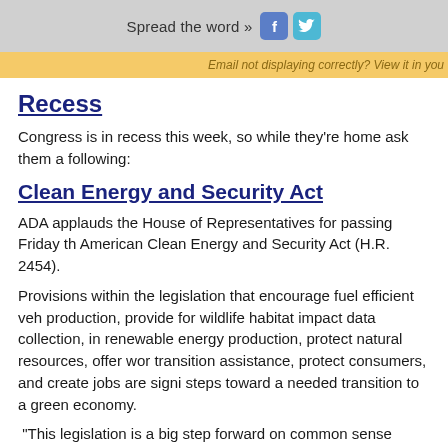Spread the word »  [Facebook icon] [Twitter icon]
Email not displaying correctly? View it in you
Recess
Congress is in recess this week, so while they're home ask them a following:
Clean Energy and Security Act
ADA applauds the House of Representatives for passing Friday th American Clean Energy and Security Act (H.R. 2454).
Provisions within the legislation that encourage fuel efficient veh production, provide for wildlife habitat impact data collection, in renewable energy production, protect natural resources, offer wor transition assistance, protect consumers, and create jobs are signi steps toward a needed transition to a green economy.
"This legislation is a big step forward on common sense climate policy," said ADA Legislative Director Darryl Fagin.